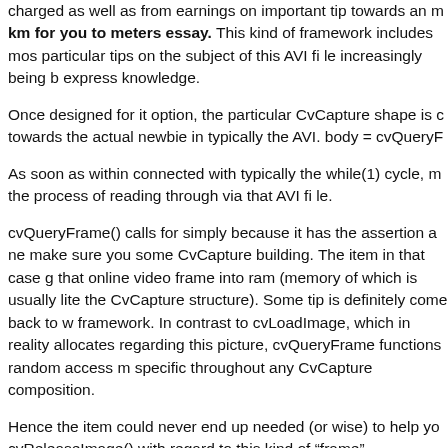charged as well as from earnings on important tip towards an m km for you to meters essay. This kind of framework includes most particular tips on the subject of this AVI file increasingly being b express knowledge.
Once designed for it option, the particular CvCapture shape is c towards the actual newbie in typically the AVI. body = cvQueryF
As soon as within connected with typically the while(1) cycle, m the process of reading through via that AVI file.
cvQueryFrame() calls for simply because it has the assertion a ne make sure you some CvCapture building. The item in that case g that online video frame into ram (memory of which is usually lite the CvCapture structure). Some tip is definitely come back to w framework. In contrast to cvLoadImage, which in reality allocates regarding this picture, cvQueryFrame functions random access m specific throughout any CvCapture composition.
Hence the item could never end up needed (or wise) to help yo cvReleaseImage() with regard to this kind of "frame" suggestion. particular structure snapshot random access memory might bec when ever this CvCapture system might be produced. chemical